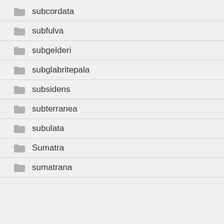subcordata
subfulva
subgelderi
subglabritepala
subsidens
subterranea
subulata
Sumatra
sumatrana